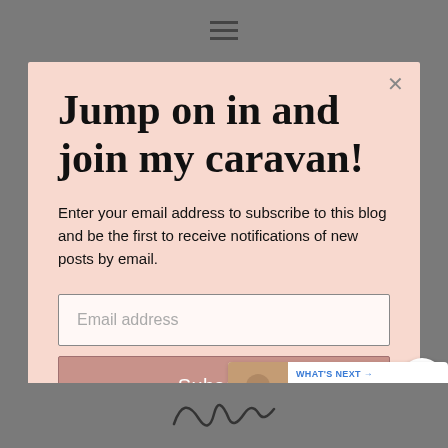[Figure (screenshot): Hamburger menu icon (three horizontal lines) centered at the top of the page on a gray background]
Jump on in and join my caravan!
Enter your email address to subscribe to this blog and be the first to receive notifications of new posts by email.
Email address
Subscribe
[Figure (infographic): Blue circular like/heart button with count of 2, and a white share button below it on the right side]
[Figure (infographic): What's Next widget showing thumbnail photo and text: Sharing my old blog abo...]